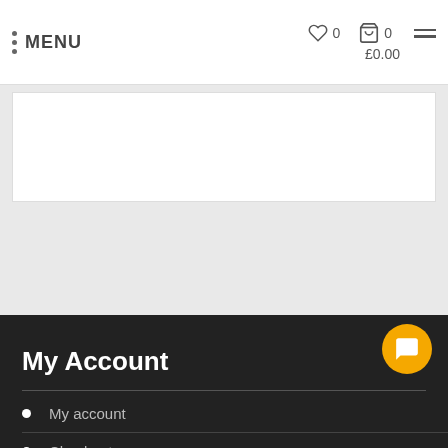MENU | ♡ 0 | 🛒 0 | £0.00
[Figure (screenshot): White content placeholder box on grey background]
My Account
My account
Checkout
Wishlist